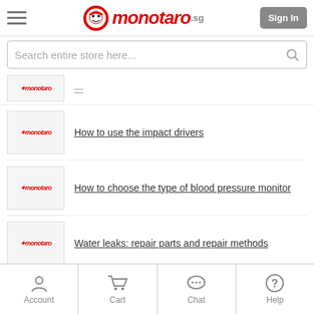monotaro.sg
Search entire store here...
How to use the impact drivers
How to choose the type of blood pressure monitor
Water leaks: repair parts and repair methods
How to use water pump pliers
Account | Cart | Chat | Help